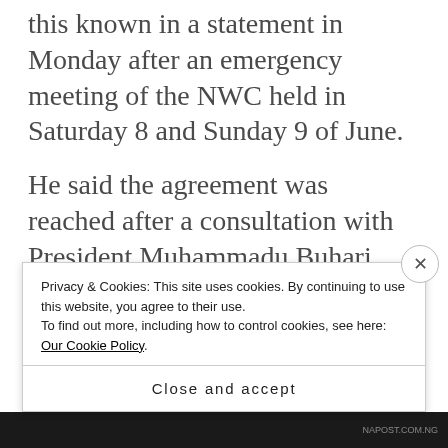this known in a statement in Monday after an emergency meeting of the NWC held in Saturday 8 and Sunday 9 of June.
He said the agreement was reached after a consultation with President Muhammadu Buhari, APC governors and party stake holders.
He said “The party formally adopts
Privacy & Cookies: This site uses cookies. By continuing to use this website, you agree to their use.
To find out more, including how to control cookies, see here: Our Cookie Policy.